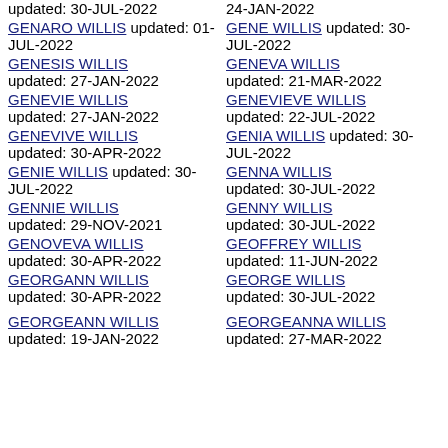updated: 30-JUL-2022
24-JAN-2022
GENARO WILLIS updated: 01-JUL-2022
GENE WILLIS updated: 30-JUL-2022
GENESIS WILLIS updated: 27-JAN-2022
GENEVA WILLIS updated: 21-MAR-2022
GENEVIE WILLIS updated: 27-JAN-2022
GENEVIEVE WILLIS updated: 22-JUL-2022
GENEVIVE WILLIS updated: 30-APR-2022
GENIA WILLIS updated: 30-JUL-2022
GENIE WILLIS updated: 30-JUL-2022
GENNA WILLIS updated: 30-JUL-2022
GENNIE WILLIS updated: 29-NOV-2021
GENNY WILLIS updated: 30-JUL-2022
GENOVEVA WILLIS updated: 30-APR-2022
GEOFFREY WILLIS updated: 11-JUN-2022
GEORGANN WILLIS updated: 30-APR-2022
GEORGE WILLIS updated: 30-JUL-2022
GEORGEANN WILLIS updated: 19-JAN-2022
GEORGEANNA WILLIS updated: 27-MAR-2022